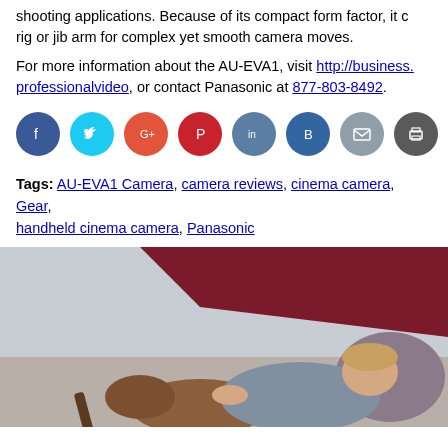shooting applications. Because of its compact form factor, it can be easily rigged onto a rig or jib arm for complex yet smooth camera moves.

For more information about the AU-EVA1, visit http://business. ... professionalvideo, or contact Panasonic at 877-803-8492.
[Figure (infographic): Row of 8 circular social sharing buttons: Facebook (dark blue), Twitter (cyan), Google+ (orange-red), Pinterest (red), LinkedIn (slate blue), another (dark blue), Email (grey), Print (dark grey)]
Tags: AU-EVA1 Camera, camera reviews, cinema camera, Gear, handheld cinema camera, Panasonic
[Figure (photo): A young person lying on a bed or couch, holding an acoustic guitar, looking at the camera. Background shows a dark red/maroon wall panel.]